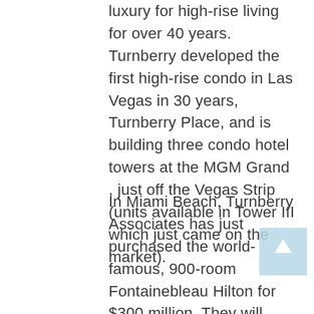luxury for high-rise living for over 40 years. Turnberry developed the first high-rise condo in Las Vegas in 30 years, Turnberry Place, and is building three condo hotel towers at the MGM Grand , just off the Vegas Strip (units available in Tower III which just came on the market).
In Miami Beach, Turnberry Associates has just purchased the world-famous, 900-room Fontainebleau Hilton for $300 million. They will spend $400 million renovating the property and creating, in conjunction with their two adjacent condo hotel towers, Fontainebleau II and